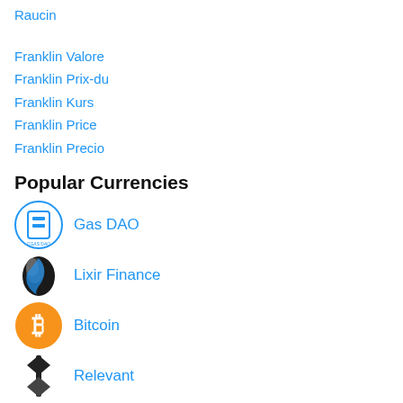Raucin
Franklin Valore
Franklin Prix-du
Franklin Kurs
Franklin Price
Franklin Precio
Popular Currencies
Gas DAO
Lixir Finance
Bitcoin
Relevant
Ethereum
Tether
Binance Coin